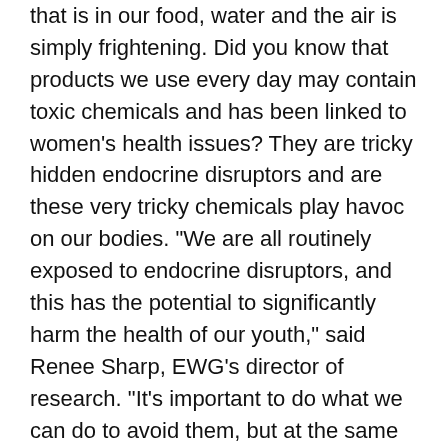that is in our food, water and the air is simply frightening. Did you know that products we use every day may contain toxic chemicals and has been linked to women's health issues? They are tricky hidden endocrine disruptors and are these very tricky chemicals play havoc on our bodies. “We are all routinely exposed to endocrine disruptors, and this has the potential to significantly harm the health of our youth,” said Renee Sharp, EWG’s director of research. “It’s important to do what we can do to avoid them, but at the same time we can’t shop our way out of the problem. We need to have a real chemical policy reform. “The longer the length of ingredients on your food or body product labels means how much unhealthier it is for you to consume or place on your skin. When an item contains a host of ingredients that most likely you can’t even pronounce or remember to spell you can bet your lucky dollar that the natural nutrients are long gone. These